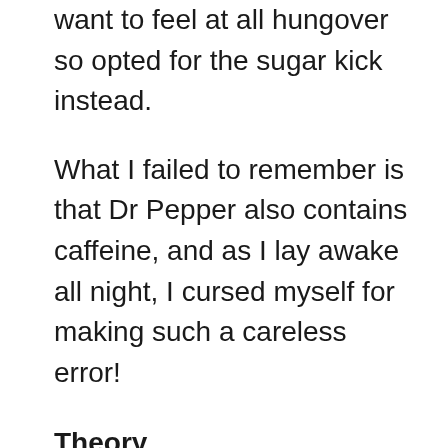want to feel at all hungover so opted for the sugar kick instead.
What I failed to remember is that Dr Pepper also contains caffeine, and as I lay awake all night, I cursed myself for making such a careless error!
Theory
Matthew Walker is a neuroscientist and sleep expert who researches the impact sleep can have on our brain and body. He states that the phrase ‘sleep while you’re dead’ has very